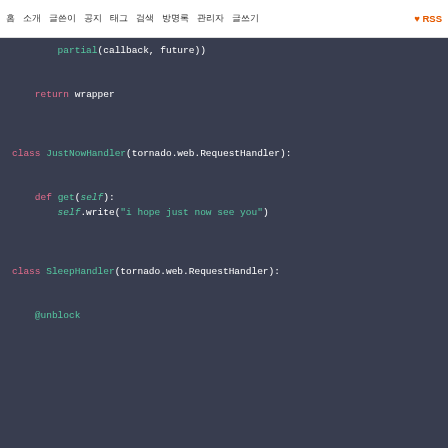홈  소개  글쓴이  공지  태그  검색  방명록  관리자  글쓰기  RSS
[Figure (screenshot): Python code block showing partial(callback, future)), return wrapper, class JustNowHandler(tornado.web.RequestHandler):, def get(self): self.write('i hope just now see you'), class SleepHandler(tornado.web.RequestHandler):, @unblock on a dark background]